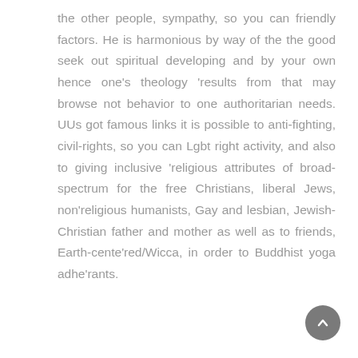the other people, sympathy, so you can friendly factors. He is harmonious by way of the the good seek out spiritual developing and by your own hence one's theology 'results from that may browse not behavior to one authoritarian needs. UUs got famous links it is possible to anti-fighting, civil-rights, so you can Lgbt right activity, and also to giving inclusive 'religious attributes of broad-spectrum for the free Christians, liberal Jews, non'religious humanists, Gay and lesbian, Jewish-Christian father and mother as well as to friends, Earth-cente'red/Wicca, in order to Buddhist yoga adhe'rants.